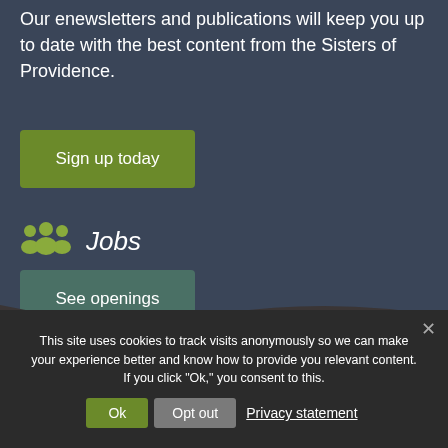Our enewsletters and publications will keep you up to date with the best content from the Sisters of Providence.
Sign up today
Jobs
See openings
This site uses cookies to track visits anonymously so we can make your experience better and know how to provide you relevant content. If you click "Ok," you consent to this.
Ok
Opt out
Privacy statement